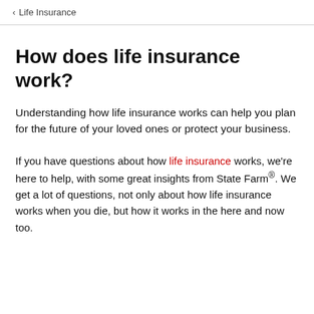< Life Insurance
How does life insurance work?
Understanding how life insurance works can help you plan for the future of your loved ones or protect your business.
If you have questions about how life insurance works, we're here to help, with some great insights from State Farm®. We get a lot of questions, not only about how life insurance works when you die, but how it works in the here and now too.